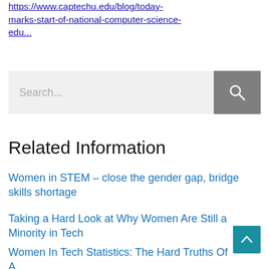https://www.captechu.edu/blog/today-marks-start-of-national-computer-science-edu...
[Figure (screenshot): Search bar with text input placeholder 'Search...' and a grey search button with magnifying glass icon]
Related Information
Women in STEM – close the gender gap, bridge skills shortage
Taking a Hard Look at Why Women Are Still a Minority in Tech
Women In Tech Statistics: The Hard Truths Of A Uphill Battle